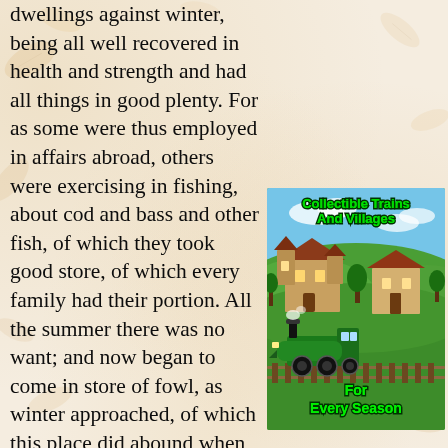dwellings against winter, being all well recovered in health and strength and had all things in good plenty. For as some were thus employed in affairs abroad, others were exercising in fishing, about cod and bass and other fish, of which they took good store, of which every family had their portion. All the summer there was no want; and now began to come in store of fowl, as winter approached, of which this place did abound when they came first (but afterward decreased by degrees). And besides waterfowl there was great store of wild turkeys, of which they took many, besides venison, etc. Besides
[Figure (illustration): Advertisement for Collectible Trains And Villages For Every Season, showing a village scene with buildings and a green steam locomotive on tracks, set against a blue sky and green hills background. Text in bold green with dark outline.]